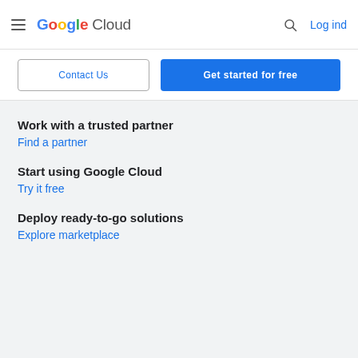Google Cloud — Log ind
Contact Us
Get started for free
Work with a trusted partner
Find a partner
Start using Google Cloud
Try it free
Deploy ready-to-go solutions
Explore marketplace